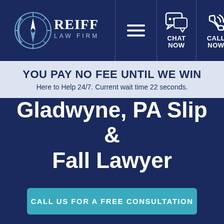[Figure (logo): Reiff Law Firm logo with compass rose icon and firm name in white text on dark navy background]
[Figure (infographic): Navigation bar with hamburger menu icon, chat bubble icon with CHAT NOW label, and phone icon with CALL NOW label, all in white on dark navy]
YOU PAY NO FEE UNTIL WE WIN
Here to Help 24/7. Current wait time 22 seconds.
Gladwyne, PA Slip & Fall Lawyer
CALL US FOR A FREE CONSULTATION